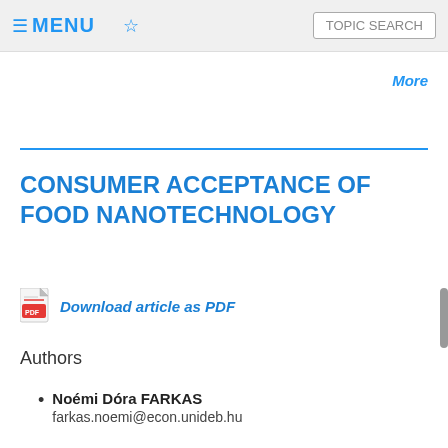☰ MENU ☆ TOPIC SEARCH
More
CONSUMER ACCEPTANCE OF FOOD NANOTECHNOLOGY
Download article as PDF
Authors
Noémi Dóra FARKAS
farkas.noemi@econ.unideb.hu